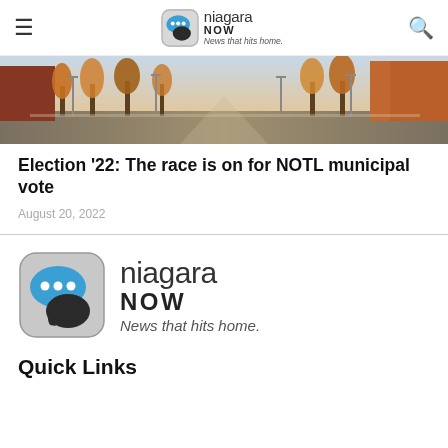niagara NOW News that hits home.
[Figure (photo): Outdoor street scene with autumn trees lining the road, buildings visible on both sides, warm fall colors]
Election '22: The race is on for NOTL municipal vote
August 20, 2022
[Figure (logo): Niagara NOW logo — large icon with blue and dark speech bubbles on grey rounded-square background, next to text 'niagara NOW News that hits home.']
Quick Links